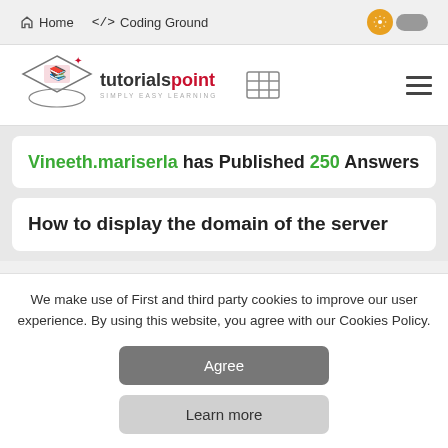Home   </> Coding Ground
[Figure (logo): tutorialspoint logo with diamond shape and book icon, text: tutorialspoint SIMPLY EASY LEARNING]
Vineeth.mariserla has Published 250 Answers
How to display the domain of the server
We make use of First and third party cookies to improve our user experience. By using this website, you agree with our Cookies Policy.
Agree
Learn more